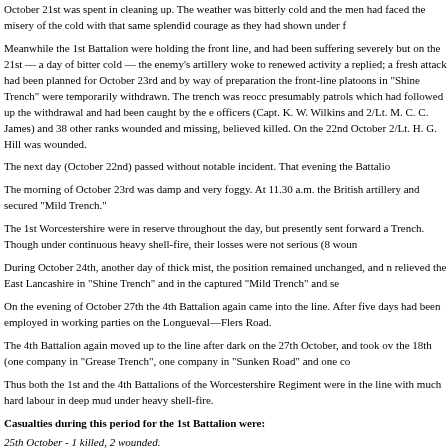October 21st was spent in cleaning up. The weather was bitterly cold and the men had faced the misery of the cold with that same splendid courage as they had shown under f
Meanwhile the 1st Battalion were holding the front line, and had been suffering severely but on the 21st — a day of bitter cold — the enemy's artillery woke to renewed activity a replied; a fresh attack had been planned for October 23rd and by way of preparation the front-line platoons in "Shine Trench" were temporarily withdrawn. The trench was reocc presumably patrols which had followed up the withdrawal and had been caught by the e officers (Capt. K. W. Wilkins and 2/Lt. M. C. C. James) and 38 other ranks wounded and missing, believed killed. On the 22nd October 2/Lt. H. G. Hill was wounded.
The next day (October 22nd) passed without notable incident. That evening the Battalio
The morning of October 23rd was damp and very foggy. At 11.30 a.m. the British artillery and secured "Mild Trench."
The 1st Worcestershire were in reserve throughout the day, but presently sent forward a Trench. Though under continuous heavy shell-fire, their losses were not serious (8 woun
During October 24th, another day of thick mist, the position remained unchanged, and n relieved the East Lancashire in "Shine Trench" and in the captured "Mild Trench" and se
On the evening of October 27th the 4th Battalion again came into the line. After five days had been employed in working parties on the Longueval—Flers Road.
The 4th Battalion again moved up to the line after dark on the 27th October, and took ov the 18th (one company in "Grease Trench", one company in "Sunken Road" and one co
Thus both the 1st and the 4th Battalions of the Worcestershire Regiment were in the line with much hard labour in deep mud under heavy shell-fire.
Casualties during this period for the 1st Battalion were:
25th October - 1 killed, 2 wounded.
26th October - 2 killed, 9 wounded.